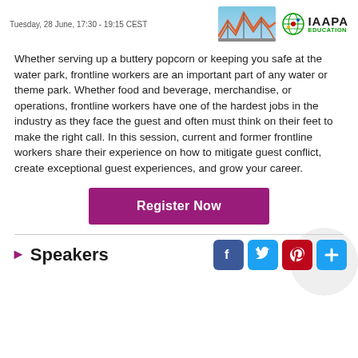Tuesday, 28 June, 17:30 - 19:15 CEST
Whether serving up a buttery popcorn or keeping you safe at the water park, frontline workers are an important part of any water or theme park. Whether food and beverage, merchandise, or operations, frontline workers have one of the hardest jobs in the industry as they face the guest and often must think on their feet to make the right call. In this session, current and former frontline workers share their experience on how to mitigate guest conflict, create exceptional guest experiences, and grow your career.
Register Now
Speakers